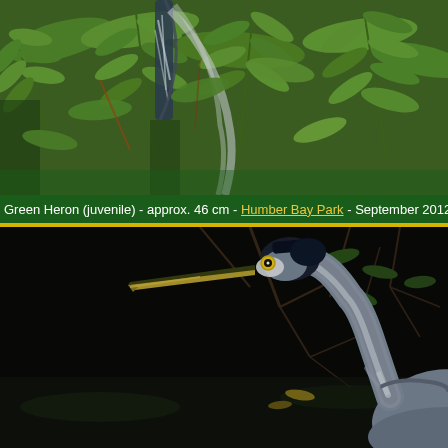[Figure (photo): Close-up photograph of a juvenile Green Heron partially hidden among lush green compound leaves (fern-like foliage). The bird's streaked breast feathers and dark plumage are visible through the dense greenery.]
Green Heron (juvenile) - approx. 46 cm - Humber Bay Park - September 2012
[Figure (photo): Close-up photograph of a Great Blue Heron standing near water with dark branches and foliage in the background. The bird displays its characteristic blue-grey plumage, long yellow-tipped beak, yellow eye, and dark crown, with its long neck curved in an S-shape.]